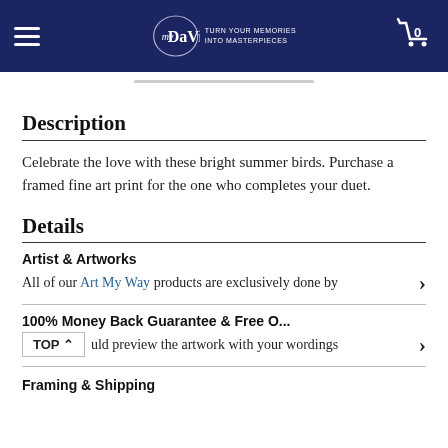myDaVinci — TURN YOUR MEMORIES INTO MASTERPIECES
Description
Celebrate the love with these bright summer birds. Purchase a framed fine art print for the one who completes your duet.
Details
Artist & Artworks
All of our Art My Way products are exclusively done by
100% Money Back Guarantee & Free O...
...ould preview the artwork with your wordings
Framing & Shipping